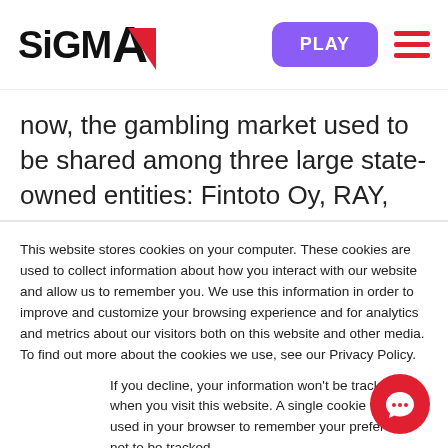[Figure (logo): SiGMA logo with red triangle accent and PLAY button and hamburger menu]
now, the gambling market used to be shared among three large state-owned entities: Fintoto Oy, RAY, and Oy Veikkaus AB. Now, all these brands work under one umbrella company
This website stores cookies on your computer. These cookies are used to collect information about how you interact with our website and allow us to remember you. We use this information in order to improve and customize your browsing experience and for analytics and metrics about our visitors both on this website and other media. To find out more about the cookies we use, see our Privacy Policy.
If you decline, your information won't be tracked when you visit this website. A single cookie will be used in your browser to remember your preference not to be tracked.